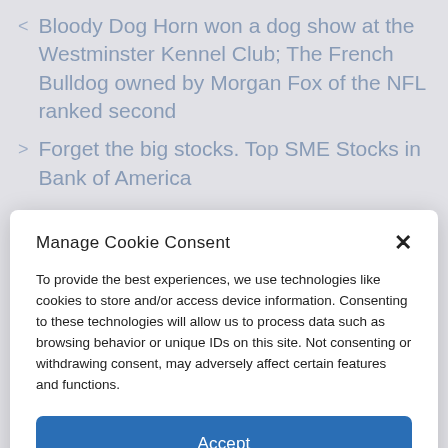< Bloody Dog Horn won a dog show at the Westminster Kennel Club; The French Bulldog owned by Morgan Fox of the NFL ranked second
> Forget the big stocks. Top SME Stocks in Bank of America
Manage Cookie Consent
To provide the best experiences, we use technologies like cookies to store and/or access device information. Consenting to these technologies will allow us to process data such as browsing behavior or unique IDs on this site. Not consenting or withdrawing consent, may adversely affect certain features and functions.
Accept
Cookie Policy